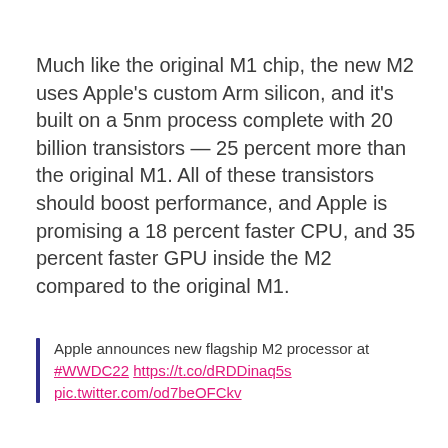Much like the original M1 chip, the new M2 uses Apple's custom Arm silicon, and it's built on a 5nm process complete with 20 billion transistors — 25 percent more than the original M1. All of these transistors should boost performance, and Apple is promising a 18 percent faster CPU, and 35 percent faster GPU inside the M2 compared to the original M1.
Apple announces new flagship M2 processor at #WWDC22 https://t.co/dRDDinaq5s pic.twitter.com/od7beOFCkv